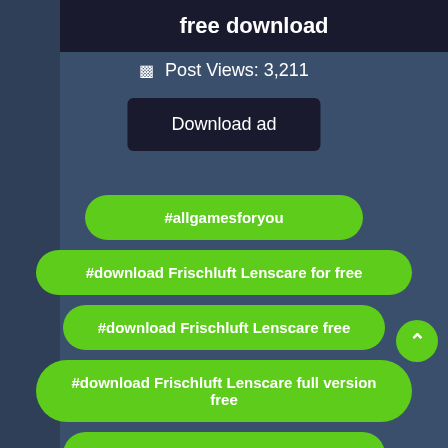free download
Post Views: 3,211
Download ad
#allgamesforyou
#download Frischluft Lenscare for free
#download Frischluft Lenscare free
#download Frischluft Lenscare full version free
#free Frischluft Lenscare download
#Frischluft Lenscare crack download